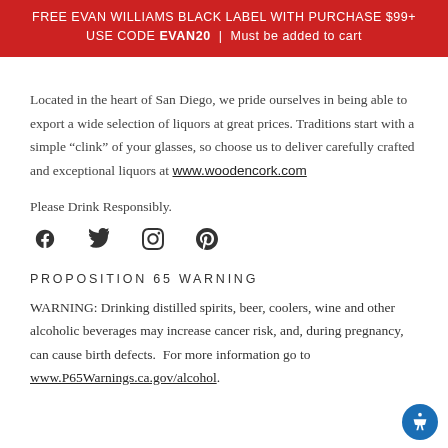FREE EVAN WILLIAMS BLACK LABEL WITH PURCHASE $99+ USE CODE EVAN20 | Must be added to cart
Located in the heart of San Diego, we pride ourselves in being able to export a wide selection of liquors at great prices. Traditions start with a simple “clink” of your glasses, so choose us to deliver carefully crafted and exceptional liquors at www.woodencork.com
Please Drink Responsibly.
[Figure (infographic): Social media icons: Facebook, Twitter, Instagram, Pinterest]
PROPOSITION 65 WARNING
WARNING: Drinking distilled spirits, beer, coolers, wine and other alcoholic beverages may increase cancer risk, and, during pregnancy, can cause birth defects.  For more information go to www.P65Warnings.ca.gov/alcohol.